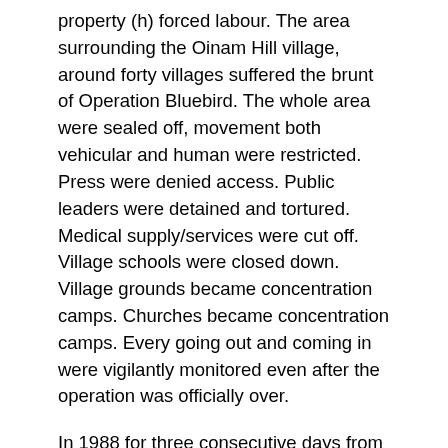property (h) forced labour. The area surrounding the Oinam Hill village, around forty villages suffered the brunt of Operation Bluebird. The whole area were sealed off, movement both vehicular and human were restricted. Press were denied access. Public leaders were detained and tortured. Medical supply/services were cut off. Village schools were closed down. Village grounds became concentration camps. Churches became concentration camps. Every going out and coming in were vigilantly monitored even after the operation was officially over.
In 1988 for three consecutive days from 31st May-2nd June jawans of the 27 Assam rifles, who were on duty gang raped about 14 tribal women in Ujanmaidan, West Tripura. Many other autocracies under AFSPA in Tripura are documented here.
On September 14, 1991 Indian Army launched